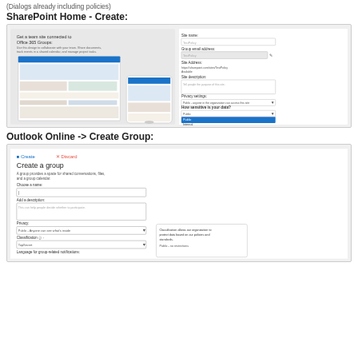(Dialogs already including policies)
SharePoint Home - Create:
[Figure (screenshot): SharePoint Home Create site dialog showing site name, group email address, site address, site description, privacy settings, and 'How sensitive is your data?' dropdown with Public selected and options Public, Internal, TopSecret visible.]
Outlook Online -> Create Group:
[Figure (screenshot): Outlook Online Create Group dialog showing fields for group name, description, privacy dropdown (Public - Anyone can see what's inside), Classification dropdown (TopSecret), and Language for group-related notifications. A tooltip shows 'Classification allows our organization to protect data based on our policies and standards. Public - no restrictions'.]